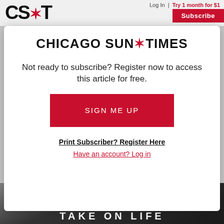CS*T  Log In | Try 1 month for $1  Subscribe
CHICAGO SUN*TIMES
Not ready to subscribe? Register now to access this article for free.
SIGN ME UP
Print Subscriber? Register Here
Have an account? Log in
[Figure (photo): Bottom portion of a car advertisement in grayscale with diagonal stripe texture]
Pre-production model shown with available features. Actual production model may vary.
TAKE ON LIFE